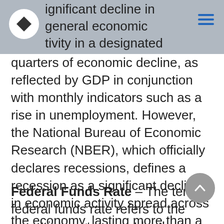ignificant decline in general economic tivity in a designated region. It had been ypically recognized as two consecutive
quarters of economic decline, as reflected by GDP in conjunction with monthly indicators such as a rise in unemployment. However, the National Bureau of Economic Research (NBER), which officially declares recessions, defines a recession as a significant decline in economic activity spread across the economy, lasting more than a few months, normally visible in real GDP, real income, employment, industrial production, and wholesale-retail sales.
Federal Funds Rate – The term federal funds rate refers to the target interest rate set by the Federal Open Market